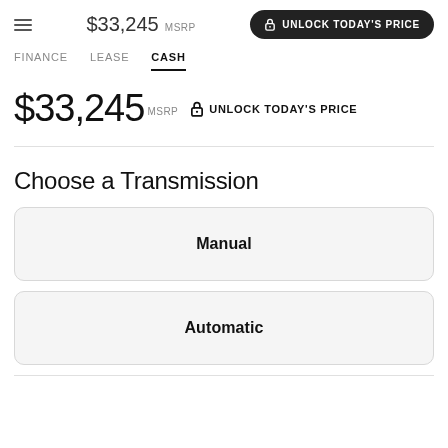$33,245 MSRP  UNLOCK TODAY'S PRICE
FINANCE  LEASE  CASH
$33,245 MSRP  UNLOCK TODAY'S PRICE
Choose a Transmission
Manual
Automatic